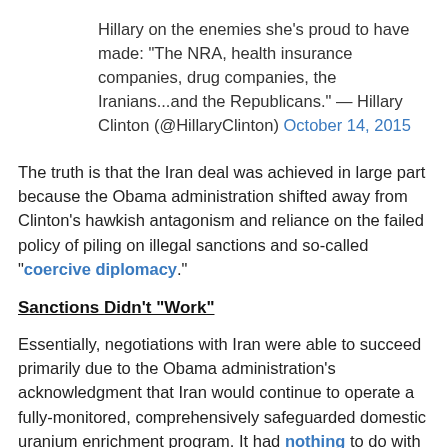Hillary on the enemies she's proud to have made: "The NRA, health insurance companies, drug companies, the Iranians...and the Republicans." — Hillary Clinton (@HillaryClinton) October 14, 2015
The truth is that the Iran deal was achieved in large part because the Obama administration shifted away from Clinton's hawkish antagonism and reliance on the failed policy of piling on illegal sanctions and so-called "coercive diplomacy".
Sanctions Didn't "Work"
Essentially, negotiations with Iran were able to succeed primarily due to the Obama administration's acknowledgment that Iran would continue to operate a fully-monitored, comprehensively safeguarded domestic uranium enrichment program. It had nothing to do with sanctions, which served only to deepen Iran's resolve to maintain and expand its